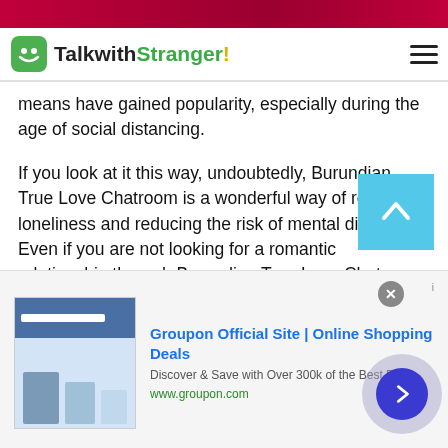[Figure (screenshot): TalkwithStranger website header with green logo icon, site name 'TalkwithStranger!' and hamburger menu icon]
means have gained popularity, especially during the age of social distancing.
If you look at it this way, undoubtedly, Burundian True Love Chatroom is a wonderful way of reducing loneliness and reducing the risk of mental disorders. Even if you are not looking for a romantic relationship through Burundian True Love Chatroom , you can speak with a stranger for a few minutes and lift the emotional weight off of your chest.
Stranger cam chats are an excellent way of reaching out
[Figure (screenshot): Groupon advertisement banner: 'Groupon Official Site | Online Shopping Deals — Discover & Save with Over 300k of the Best Deals — www.groupon.com']